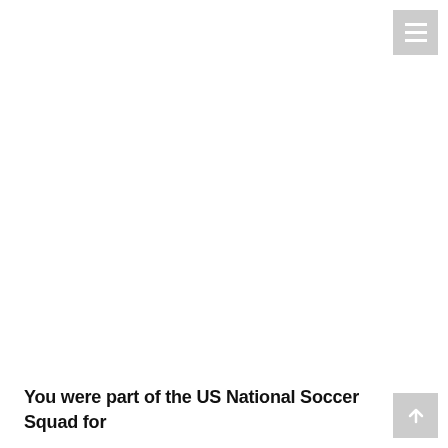[Figure (screenshot): Hamburger menu icon button (three horizontal white lines on light gray background) positioned in the top-right corner]
[Figure (screenshot): Scroll-to-top button (upward arrow icon on light gray background) positioned in the bottom-right corner]
You were part of the US National Soccer Squad for